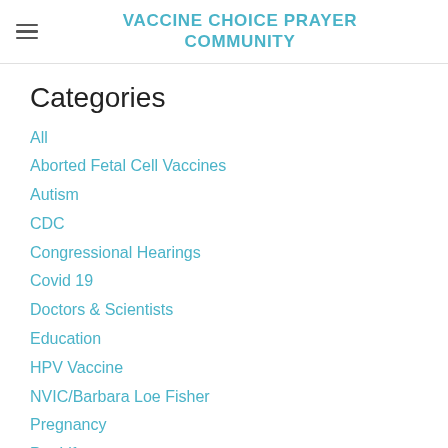VACCINE CHOICE PRAYER COMMUNITY
Categories
All
Aborted Fetal Cell Vaccines
Autism
CDC
Congressional Hearings
Covid 19
Doctors & Scientists
Education
HPV Vaccine
NVIC/Barbara Loe Fisher
Pregnancy
Pro Life
Revolution For Truth
Stories
The Truth About Vaccines
Vaccine Exemptions